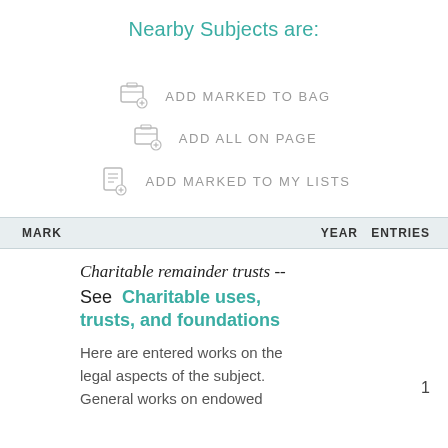Nearby Subjects are:
ADD MARKED TO BAG
ADD ALL ON PAGE
ADD MARKED TO MY LISTS
| MARK |  | YEAR | ENTRIES |
| --- | --- | --- | --- |
|  | Charitable remainder trusts -- See Charitable uses, trusts, and foundations Here are entered works on the legal aspects of the subject. General works on endowed |  | 1 |
Charitable remainder trusts -- See Charitable uses, trusts, and foundations